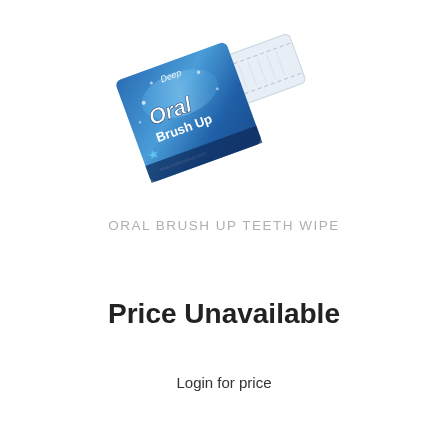[Figure (photo): Product photo of Oral Brush Up Teeth Wipe packet — a blue foil packet with 'Oral Brush Up' branding, tilted at an angle, with a white textured wipe partially pulled out]
ORAL BRUSH UP TEETH WIPE
Price Unavailable
Login for price